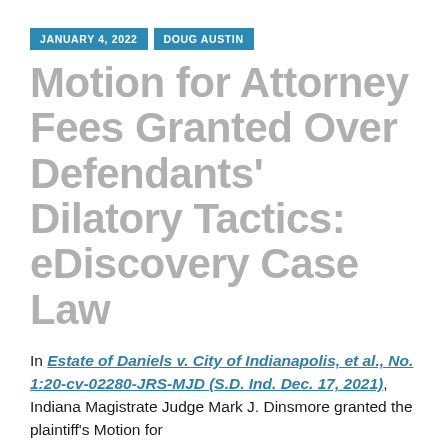JANUARY 4, 2022 | DOUG AUSTIN
Motion for Attorney Fees Granted Over Defendants’ Dilatory Tactics: eDiscovery Case Law
In Estate of Daniels v. City of Indianapolis, et al., No. 1:20-cv-02280-JRS-MJD (S.D. Ind. Dec. 17, 2021), Indiana Magistrate Judge Mark J. Dinsmore granted the plaintiff’s Motion for